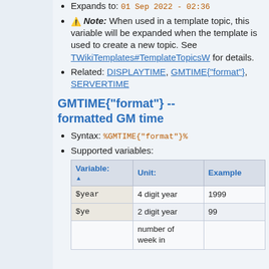Expands to: 01 Sep 2022 - 02:36
⚠ Note: When used in a template topic, this variable will be expanded when the template is used to create a new topic. See TWikiTemplates#TemplateTopicsW for details.
Related: DISPLAYTIME, GMTIME{"format"}, SERVERTIME
GMTIME{"format"} -- formatted GM time
Syntax: %GMTIME{"format"}%
Supported variables:
| Variable: ▲ | Unit: | Example |
| --- | --- | --- |
| $year | 4 digit year | 1999 |
| $ye | 2 digit year | 99 |
|  | number of week in |  |